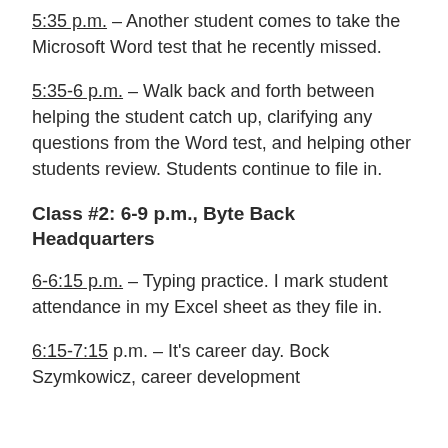5:35 p.m. – Another student comes to take the Microsoft Word test that he recently missed.
5:35-6 p.m. – Walk back and forth between helping the student catch up, clarifying any questions from the Word test, and helping other students review. Students continue to file in.
Class #2: 6-9 p.m., Byte Back Headquarters
6-6:15 p.m. – Typing practice. I mark student attendance in my Excel sheet as they file in.
6:15-7:15 p.m. – It's career day. Bock Szymkowicz, career development